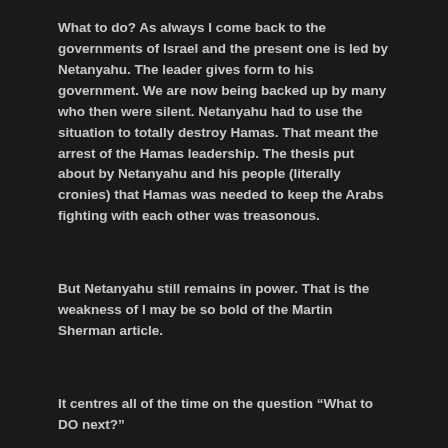What to do? As always I come back to the governments of Israel and the present one is led by Netanyahu. The leader gives form to his government. We are now being backed up by many who then were silent. Netanyahu had to use the situation to totally destroy Hamas. That meant the arrest of the Hamas leadership. The thesis put about by Netanyahu and his people (literally cronies) that Hamas was needed to keep the Arabs fighting with each other was treasonous.
But Netanyahu still remains in power. That is the weakness of I may be so bold of the Martin Sherman article.
It centres all of the time on the question “What to DO next?”